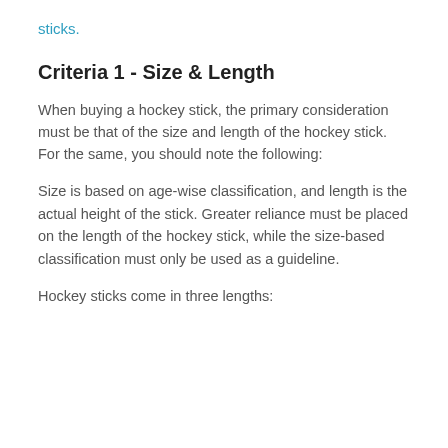sticks.
Criteria 1 - Size & Length
When buying a hockey stick, the primary consideration must be that of the size and length of the hockey stick. For the same, you should note the following:
Size is based on age-wise classification, and length is the actual height of the stick. Greater reliance must be placed on the length of the hockey stick, while the size-based classification must only be used as a guideline.
Hockey sticks come in three lengths: